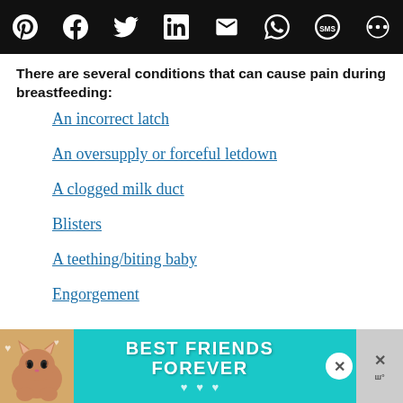[Social share toolbar: Pinterest, Facebook, Twitter, LinkedIn, Email, WhatsApp, SMS, Share]
There are several conditions that can cause pain during breastfeeding:
An incorrect latch
An oversupply or forceful letdown
A clogged milk duct
Blisters
A teething/biting baby
Engorgement
[Figure (other): Advertisement banner for 'BEST FRIENDS FOREVER' featuring a cat illustration on a teal background with a close button and side panel]